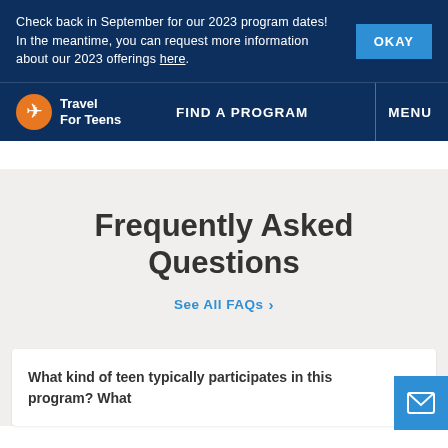Check back in September for our 2023 program dates! In the meantime, you can request more information about our 2023 offerings here.
Travel For Teens | FIND A PROGRAM | MENU
Frequently Asked Questions
See All FAQs ›
What kind of teen typically participates in this program? What